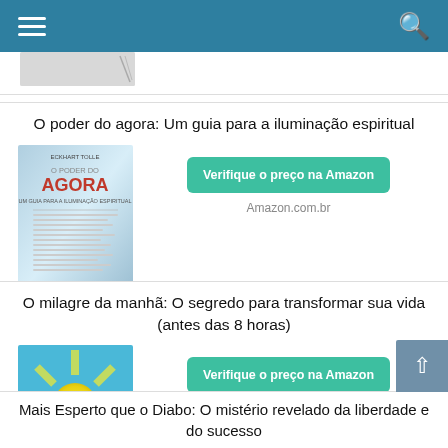Navigation bar with hamburger menu and search icon
[Figure (screenshot): Partial book cover at top, cropped]
O poder do agora: Um guia para a iluminação espiritual
[Figure (photo): Book cover: O Poder do Agora by Eckhart Tolle]
Verifique o preço na Amazon
Amazon.com.br
O milagre da manhã: O segredo para transformar sua vida (antes das 8 horas)
[Figure (photo): Book cover: O Milagre da Manhã]
Verifique o preço na Amazon
Amazon.com.br
Mais Esperto que o Diabo: O mistério revelado da liberdade e do sucesso